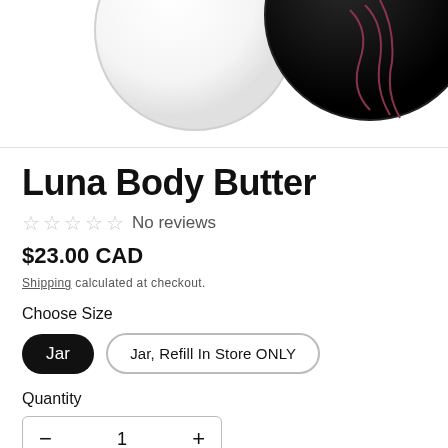[Figure (photo): Two circular product jars partially visible: one white/cream colored jar on the left and one black jar with red line art on the right, shown against a white background with a light border.]
Luna Body Butter
No reviews
$23.00 CAD
Shipping calculated at checkout.
Choose Size
Jar
Jar, Refill In Store ONLY
Quantity
1